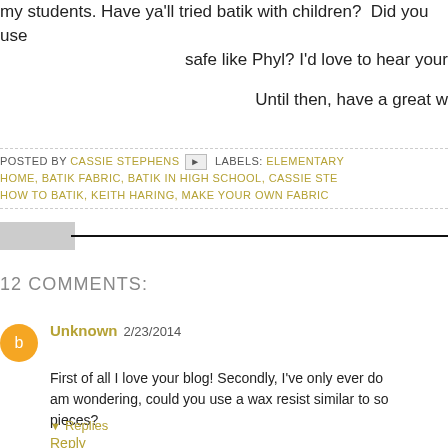my students. Have ya'll tried batik with children? Did you use safe like Phyl? I'd love to hear your
Until then, have a great w
POSTED BY CASSIE STEPHENS [icon] LABELS: ELEMENTARY HOME, BATIK FABRIC, BATIK IN HIGH SCHOOL, CASSIE STE HOW TO BATIK, KEITH HARING, MAKE YOUR OWN FABRIC
12 COMMENTS:
Unknown 2/23/2014
First of all I love your blog! Secondly, I've only ever do am wondering, could you use a wax resist similar to so pieces?
Reply
Replies